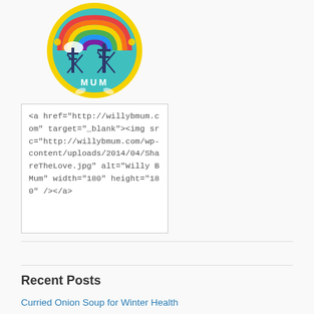[Figure (illustration): Circular badge/logo for 'Willy B Mum' with teal background, yellow scalloped border, rainbow arc, dark blue power line towers, acorn decorations, and 'MUM' text at bottom]
<a href="http://willybmum.com" target="_blank"><img src="http://willybmum.com/wp-content/uploads/2014/04/ShareTheLove.jpg" alt="Willy B Mum" width="180" height="180" /></a>
Recent Posts
Curried Onion Soup for Winter Health